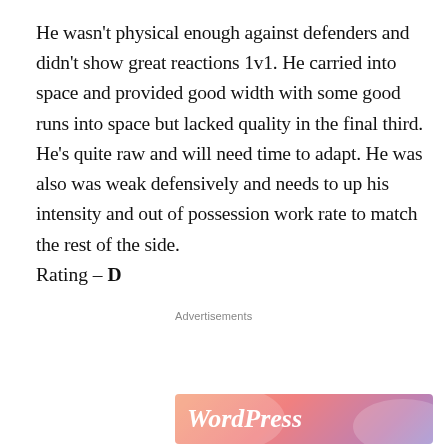He wasn't physical enough against defenders and didn't show great reactions 1v1. He carried into space and provided good width with some good runs into space but lacked quality in the final third. He's quite raw and will need time to adapt. He was also was weak defensively and needs to up his intensity and out of possession work rate to match the rest of the side.
Rating – D
Advertisements
[Figure (other): Advertisement banner with text 'Business in the front...' on a light beige background, and a WordPress logo on a colorful gradient banner below.]